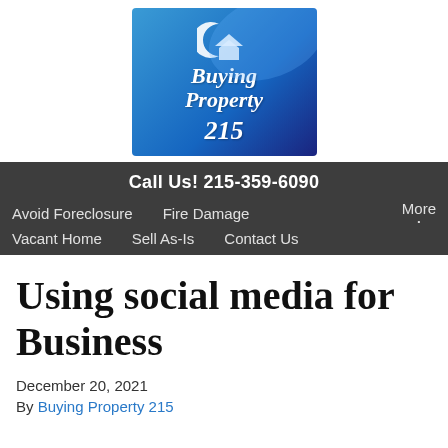[Figure (logo): Buying Property 215 logo: blue gradient background with white crescent/house icon and italic white text reading 'Buying Property 215']
Call Us! 215-359-6090
Avoid Foreclosure   Fire Damage   More
Vacant Home   Sell As-Is   Contact Us
Using social media for Business
December 20, 2021
By Buying Property 215